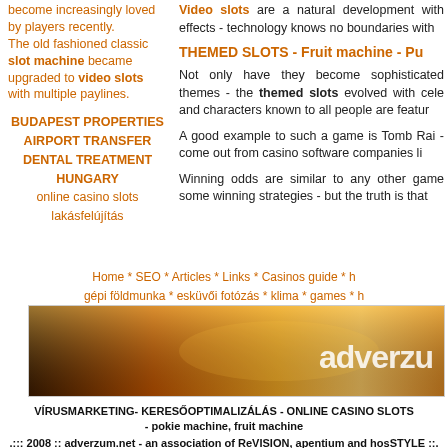become increasingly loved by players recently.
The old fashioned classic slot machine became upgraded to video slots with multiple paylines.
BUDAPEST PROPERTIES
AIRPORT TRANSFER
DENTAL TREATMENT
HUNGARY
online casino slots
lakásfelújítás
Video slots are a natural development with effects - technology knows no boundaries with
THEMED SLOTS - Fruit machine - Pu
Not only have they become sophisticated themes - the themed slots evolved with cele and characters known to all people are featur
A good example to such a game is Tomb Rai - come out from casino software companies li
Winning odds are similar to any other game some winning strategies - but the truth is that
Home * SEO * Articles * Links * Casinos guide * h
gépi földmunka * esküvői fotózás * klima * games * h
[Figure (photo): Banner image with warm sunset/orange gradient background and 'adverzum' logo text on the right]
VÍRUSMARKETING- KERESŐOPTIMALIZÁLÁS - ONLINE CASINO SLOTS - pokie machine, fruit machine
.::: 2008 :: adverzum.net - an association of ReVISION, apentium and hosSTYLE ::.
online marketing keresőoptimalizálás vírusmarketing gerillamarketing webmarketing
Google SEO and vIRAL mARKETING solutions cazino slot machine, best online casinos & games